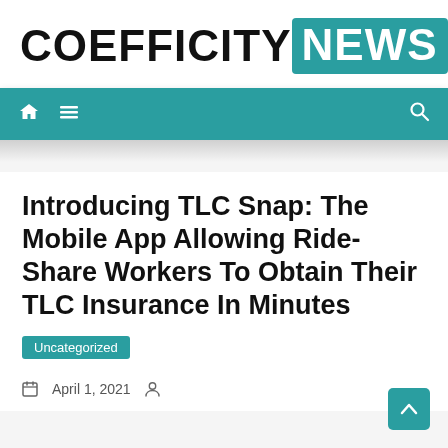[Figure (logo): Coefficity NEWS logo: 'COEFFICITY' in black bold text followed by 'NEWS' in white text on teal/dark-cyan background rectangle]
[Figure (screenshot): Teal navigation bar with home icon, hamburger menu icon on left, and search icon on right]
Introducing TLC Snap: The Mobile App Allowing Ride-Share Workers To Obtain Their TLC Insurance In Minutes
Uncategorized
April 1, 2021